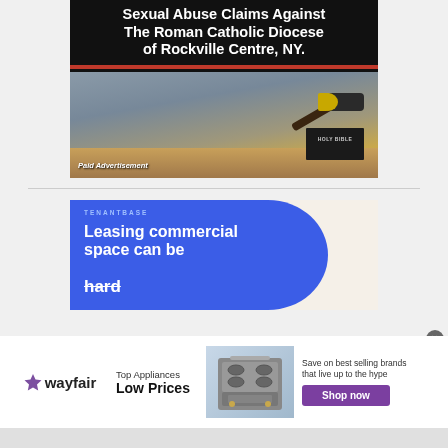[Figure (advertisement): Paid advertisement banner for Sexual Abuse Claims Against The Roman Catholic Diocese of Rockville Centre, NY. Features bold white text on black background with a red stripe, and a photo of a judge's gavel resting on a Holy Bible.]
[Figure (advertisement): TenantBase advertisement with blue curved background. Text reads: TENANTBASE - Leasing commercial space can be hard (strikethrough)]
[Figure (advertisement): Wayfair advertisement: Top Appliances Low Prices. Save on best selling brands that live up to the hype. Shop now button. Features appliance image.]